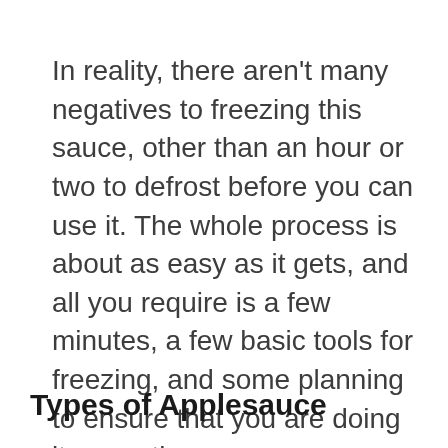In reality, there aren't many negatives to freezing this sauce, other than an hour or two to defrost before you can use it. The whole process is about as easy as it gets, and all you require is a few minutes, a few basic tools for freezing, and some planning to ensure that you are doing it correctly.
Types of Applesauce